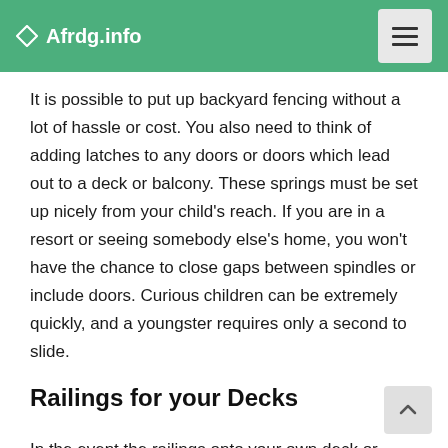Afrdg.info
It is possible to put up backyard fencing without a lot of hassle or cost. You also need to think of adding latches to any doors or doors which lead out to a deck or balcony. These springs must be set up nicely from your child's reach. If you are in a resort or seeing somebody else's home, you won't have the chance to close gaps between spindles or include doors. Curious children can be extremely quickly, and a youngster requires only a second to slide.
Railings for your Decks
In the event the railings onto your own deck or